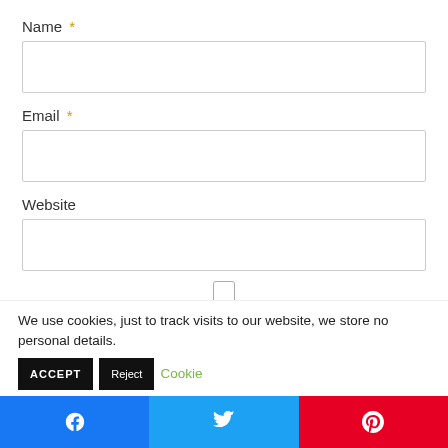Name *
[Figure (other): Empty text input field for Name]
Email *
[Figure (other): Empty text input field for Email]
Website
[Figure (other): Empty text input field for Website]
[Figure (other): Unchecked checkbox]
Save my name, email, and website in this browser for
We use cookies, just to track visits to our website, we store no personal details. ACCEPT Reject Cookie
[Figure (other): Social share buttons: Facebook, Twitter, Pinterest]